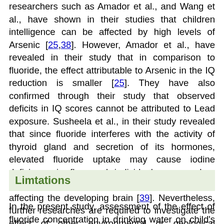researchers such as Amador et al., and Wang et al., have shown in their studies that children intelligence can be affected by high levels of Arsenic [25,38]. However, Amador et al., have revealed in their study that in comparison to fluoride, the effect attributable to Arsenic in the IQ reduction is smaller [25]. They have also confirmed through their study that observed deficits in IQ scores cannot be attributed to Lead exposure. Susheela et al., in their study revealed that since fluoride interferes with the activity of thyroid gland and secretion of its hormones, elevated fluoride uptake may cause iodine deficiency in fluorosed individuals, even when they reside in non-iodine deficient areas, hereby affecting the developing brain [39]. Nevertheless, further researches are required to investigate the effect of other environmental or geological contaminants on Intelligence.
Limtations
In the present study, assessment of the effect of fluoride concentration in drinking water on child's IQ has been done, but it is possible that some